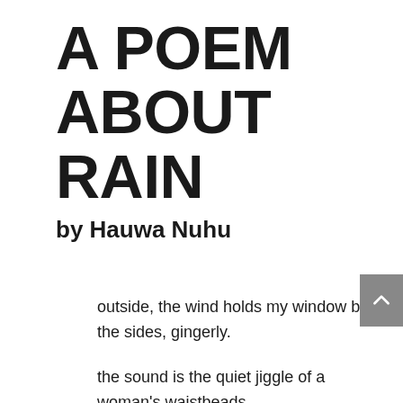A POEM ABOUT RAIN
by Hauwa Nuhu
outside, the wind holds my window by the sides, gingerly.
the sound is the quiet jiggle of a woman's waistbeads
outside, the rain beats down with vengeance